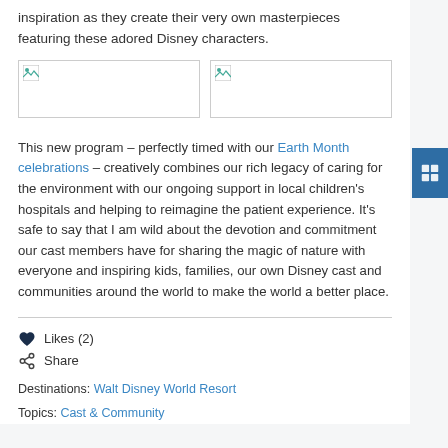inspiration as they create their very own masterpieces featuring these adored Disney characters.
[Figure (photo): Two placeholder images side by side]
This new program – perfectly timed with our Earth Month celebrations – creatively combines our rich legacy of caring for the environment with our ongoing support in local children's hospitals and helping to reimagine the patient experience. It's safe to say that I am wild about the devotion and commitment our cast members have for sharing the magic of nature with everyone and inspiring kids, families, our own Disney cast and communities around the world to make the world a better place.
Likes (2)
Share
Destinations: Walt Disney World Resort
Topics: Cast & Community